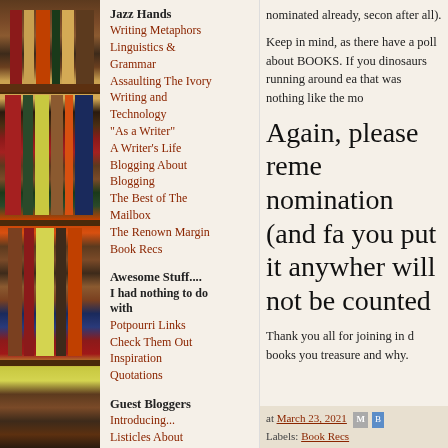[Figure (photo): Bookshelf with colorful books, viewed from the side]
Jazz Hands
Writing Metaphors
Linguistics & Grammar
Assaulting The Ivory
Writing and Technology
"As a Writer"
A Writer's Life
Blogging About Blogging
The Best of The Mailbox
The Renown Margin
Book Recs
Awesome Stuff....
I had nothing to do with
Potpourri Links
Check Them Out
Inspiration
Quotations
Guest Bloggers
Introducing...
Listicles About
nominated already, secon after all).
Keep in mind, as there have a poll about BOOKS. If you dinosaurs running around ea that was nothing like the mo
Again, please reme nomination (and fa you put it anywher will not be counted
Thank you all for joining in d books you treasure and why.
at March 23, 2021   Labels: Book Recs